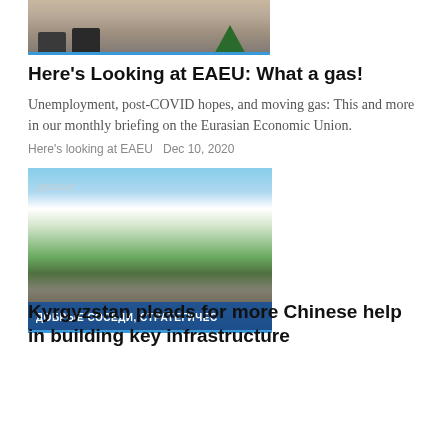[Figure (photo): Partial view of people in aprons/coats near a Christmas tree, cropped at top of page]
Here’s Looking at EAEU: What a gas!
Unemployment, post-COVID hopes, and moving gas: This and more in our monthly briefing on the Eurasian Economic Union.
Here’s looking at EAEU  Dec 10, 2020
[Figure (photo): Mountain landscape with rocky terrain and green hillside; Cyrillic text overlay reading 'досье' and banner 'ДОБРЫЕ СОСЕДИ, СТРАТЕГИЧЕС' at bottom]
Kyrgyzstan pleads for more Chinese help in building key infrastructure